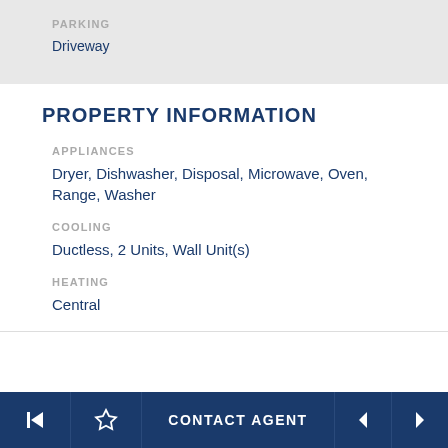PARKING
Driveway
PROPERTY INFORMATION
APPLIANCES
Dryer, Dishwasher, Disposal, Microwave, Oven, Range, Washer
COOLING
Ductless, 2 Units, Wall Unit(s)
HEATING
Central
CONTACT AGENT